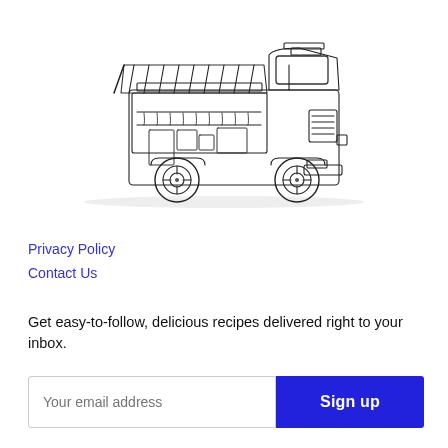[Figure (illustration): Sketch/line-art illustration of a food truck with an open side awning showing shelves and items inside, viewed from the front-left angle]
Privacy Policy
Contact Us
Get easy-to-follow, delicious recipes delivered right to your inbox.
Your email address [input field] Sign up [button]